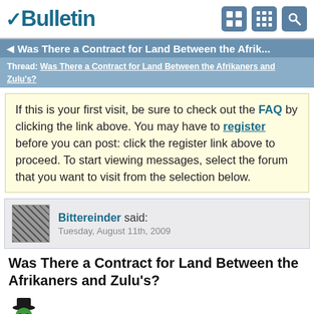vBulletin
Was There a Contract for Land Between the Afrik...
Thread: Was There a Contract for Land Between the Afrikaners and Zulu's?
If this is your first visit, be sure to check out the FAQ by clicking the link above. You may have to register before you can post: click the register link above to proceed. To start viewing messages, select the forum that you want to visit from the selection below.
Bittereinder said:
Tuesday, August 11th, 2009
Was There a Contract for Land Between the Afrikaners and Zulu's?
[Figure (illustration): Green emoji face with black hat]
I was watching Jewstorie channel a program named 'Guns